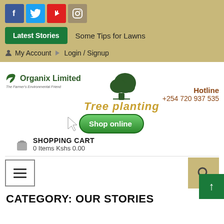[Figure (screenshot): Social media icons: Facebook (blue), Twitter (light blue), YouTube (red), Instagram (tan)]
Some Tips for Lawns
Latest Stories
My Account  Login / Signup
[Figure (logo): Organix Limited logo with leaf icon and tagline: The Farmer's Environmental Friend]
[Figure (logo): Tree planting logo with tree icon]
Hotline
+254 720 937 535
[Figure (illustration): Shop online green button with cursor arrow icon]
SHOPPING CART
0 Items  Kshs 0.00
[Figure (infographic): Hamburger menu icon (three horizontal lines) in bordered box, and search icon (magnifying glass) in tan box]
CATEGORY: OUR STORIES